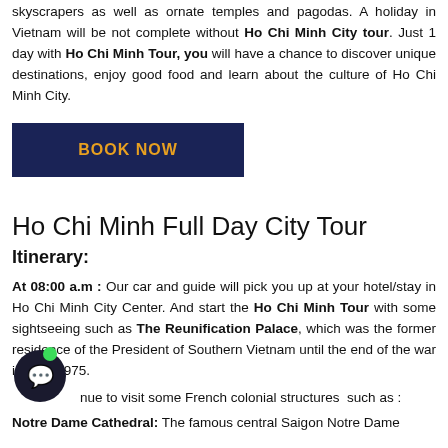skyscrapers as well as ornate temples and pagodas. A holiday in Vietnam will be not complete without Ho Chi Minh City tour. Just 1 day with Ho Chi Minh Tour, you will have a chance to discover unique destinations, enjoy good food and learn about the culture of Ho Chi Minh City.
BOOK NOW
Ho Chi Minh Full Day City Tour
Itinerary:
At 08:00 a.m : Our car and guide will pick you up at your hotel/stay in Ho Chi Minh City Center. And start the Ho Chi Minh Tour with some sightseeing such as The Reunification Palace, which was the former residence of the President of Southern Vietnam until the end of the war in April 1975.
Then continue to visit some French colonial structures such as :
Notre Dame Cathedral: The famous central Saigon Notre Dame